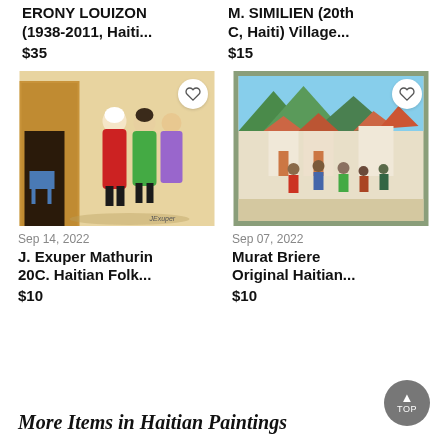ERONY LOUIZON (1938-2011, Haiti...
$35
M. SIMILIEN (20th C, Haiti) Village...
$15
[Figure (photo): Haitian folk art painting showing women in colorful dresses outside a wooden building]
Sep 14, 2022
J. Exuper Mathurin 20C. Haitian Folk...
$10
[Figure (photo): Haitian painting in green frame showing people dancing in a village scene]
Sep 07, 2022
Murat Briere Original Haitian...
$10
More Items in Haitian Paintings